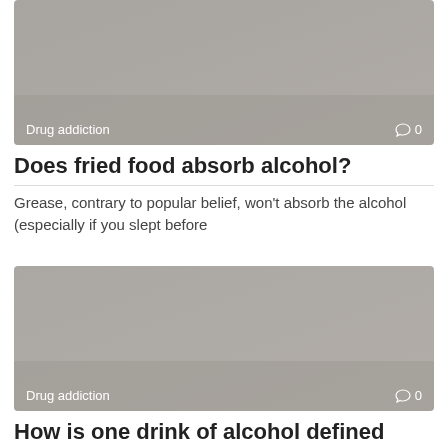[Figure (photo): Gray placeholder thumbnail image with 'Drug addiction' label and comment icon showing 0 comments at the bottom]
Does fried food absorb alcohol?
Grease, contrary to popular belief, won't absorb the alcohol (especially if you slept before
[Figure (photo): Gray placeholder thumbnail image with 'Drug addiction' label and comment icon showing 0 comments at the bottom]
How is one drink of alcohol defined